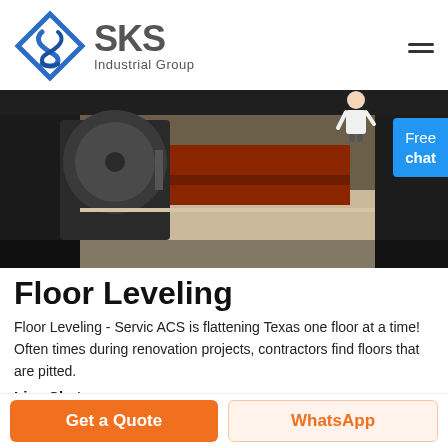[Figure (logo): SKS Industrial Group logo with blue angular S icon and grey SKS text]
[Figure (photo): Close-up photo of floor leveling equipment/grinder being used on an industrial floor with red/brown workbench in background]
Floor Leveling
Floor Leveling - Servic ACS is flattening Texas one floor at a time! Often times during renovation projects, contractors find floors that are pitted.
Live Chat
Get a Quote
WhatsApp